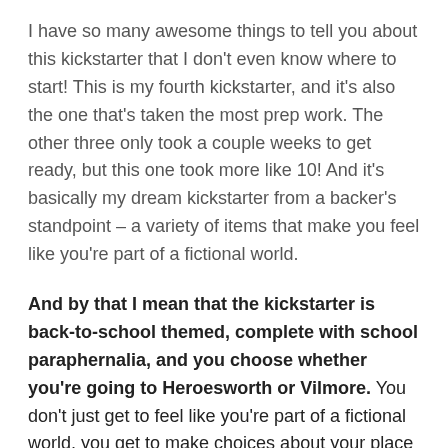I have so many awesome things to tell you about this kickstarter that I don't even know where to start! This is my fourth kickstarter, and it's also the one that's taken the most prep work. The other three only took a couple weeks to get ready, but this one took more like 10! And it's basically my dream kickstarter from a backer's standpoint – a variety of items that make you feel like you're part of a fictional world.
And by that I mean that the kickstarter is back-to-school themed, complete with school paraphernalia, and you choose whether you're going to Heroesworth or Vilmore. You don't just get to feel like you're part of a fictional world, you get to make choices about your place in it!!! I can't tell you how happy that makes me!
Speaking of bringing fictional worlds to life, you can